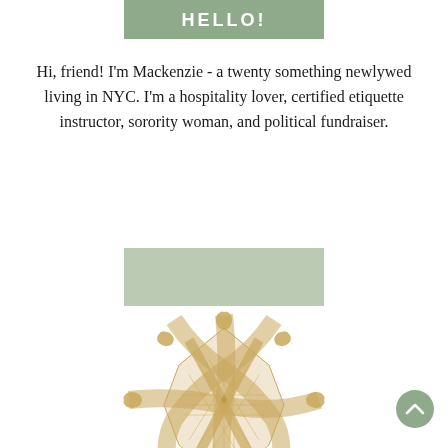HELLO!
Hi, friend! I'm Mackenzie - a twenty something newlywed living in NYC. I'm a hospitality lover, certified etiquette instructor, sorority woman, and political fundraiser.
[Figure (illustration): Decorative sage green rectangle button placeholder]
[Figure (illustration): Ornate golden interlaced cross/monogram decorative emblem]